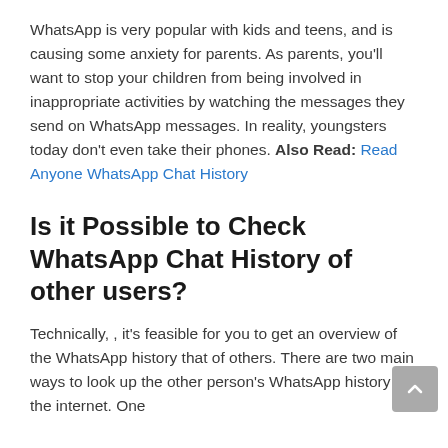WhatsApp is very popular with kids and teens, and is causing some anxiety for parents. As parents, you'll want to stop your children from being involved in inappropriate activities by watching the messages they send on WhatsApp messages. In reality, youngsters today don't even take their phones. Also Read: Read Anyone WhatsApp Chat History
Is it Possible to Check WhatsApp Chat History of other users?
Technically, , it's feasible for you to get an overview of the WhatsApp history that of others. There are two main ways to look up the other person's WhatsApp history on the internet. One